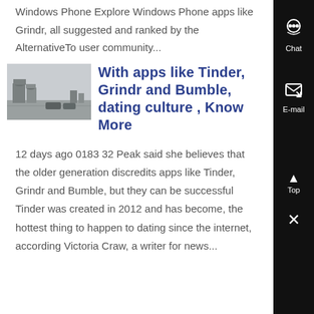Windows Phone Explore Windows Phone apps like Grindr, all suggested and ranked by the AlternativeTo user community...
[Figure (photo): Thumbnail image showing an industrial or warehouse area with vehicles and structures under a grey sky]
With apps like Tinder, Grindr and Bumble, dating culture , Know More
12 days ago 0183 32 Peak said she believes that the older generation discredits apps like Tinder, Grindr and Bumble, but they can be successful Tinder was created in 2012 and has become, the hottest thing to happen to dating since the internet, according Victoria Craw, a writer for news...